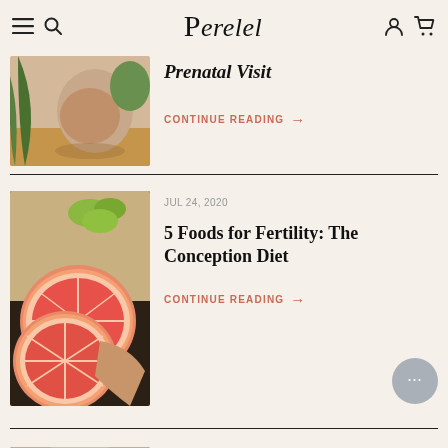Perelel
Prenatal Visit
CONTINUE READING →
JUL 24, 2020
5 Foods for Fertility: The Conception Diet
CONTINUE READING →
JUL 22, 2020